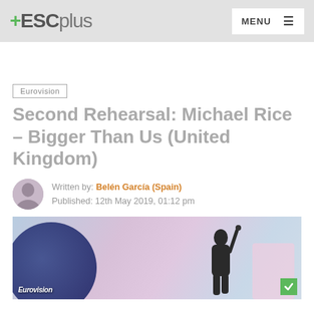+ESCplus  MENU
Eurovision
Second Rehearsal: Michael Rice – Bigger Than Us (United Kingdom)
Written by: Belén García (Spain)
Published: 12th May 2019, 01:12 pm
[Figure (photo): Michael Rice performing on the Eurovision stage, with the Eurovision logo visible in the lower left and backing performers visible on stage]